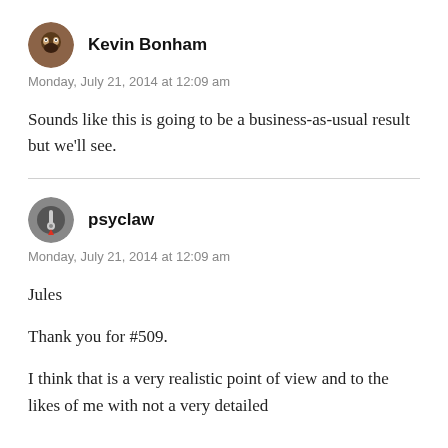[Figure (photo): Avatar of Kevin Bonham, a round profile picture showing a face]
Kevin Bonham
Monday, July 21, 2014 at 12:09 am
Sounds like this is going to be a business-as-usual result but we’ll see.
[Figure (photo): Avatar of psyclaw, a dark circular profile picture with a key icon]
psyclaw
Monday, July 21, 2014 at 12:09 am
Jules
Thank you for #509.
I think that is a very realistic point of view and to the likes of me with not a very detailed